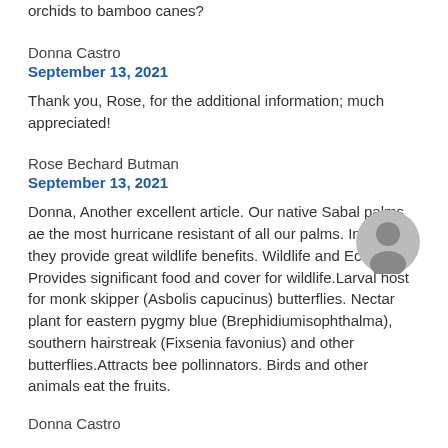orchids to bamboo canes?
Donna Castro
September 13, 2021
Thank you, Rose, for the additional information; much appreciated!
Rose Bechard Butman
September 13, 2021
[Figure (illustration): User avatar icon (grey circle with person silhouette)]
Donna, Another excellent article. Our native Sabal palms ae the most hurricane resistant of all our palms. In addition they provide great wildlife benefits. Wildlife and Ecology: Provides significant food and cover for wildlife.Larval host for monk skipper (Asbolis capucinus) butterflies. Nectar plant for eastern pygmy blue (Brephidiumisophthalma), southern hairstreak (Fixsenia favonius) and other butterflies.Attracts bee pollinnators. Birds and other animals eat the fruits.
Donna Castro